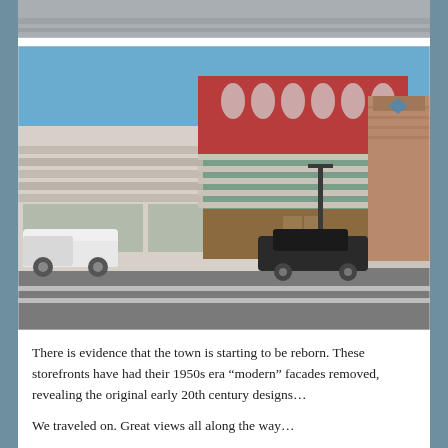[Figure (photo): Partial top strip of a previous photo, showing a blurred/cropped image at the very top of the page.]
[Figure (photo): Street-level photograph of historic storefronts in a small town. The buildings show partially removed 1950s era modern facades revealing older early 20th century architecture beneath. Red arched decorative elements are visible on the upper portion of the central building. A white pickup truck is parked on the left and a black car is parked in front of the building on the right. A street lamp is visible in the center. Clear blue sky is in the background.]
There is evidence that the town is starting to be reborn. These storefronts have had their 1950s era “modern” facades removed, revealing the original early 20th century designs…
We traveled on. Great views all along the way…